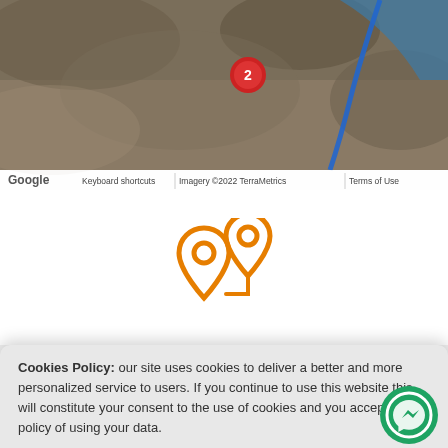[Figure (screenshot): Google Maps satellite view showing terrain with a blue route line and a red numbered marker '2'. Bottom bar shows Google logo, 'Keyboard shortcuts', 'Imagery ©2022 TerraMetrics', 'Terms of Use'.]
[Figure (illustration): Two orange map pin/location marker icons on a white background]
Cookies Policy: our site uses cookies to deliver a better and more personalized service to users. If you continue to use this website this will constitute your consent to the use of cookies and you accept the policy of using your data.
Accept
Read more
Change Settings
[Figure (illustration): Green circular Facebook Messenger chat button (FAB) in bottom-right corner]
arn